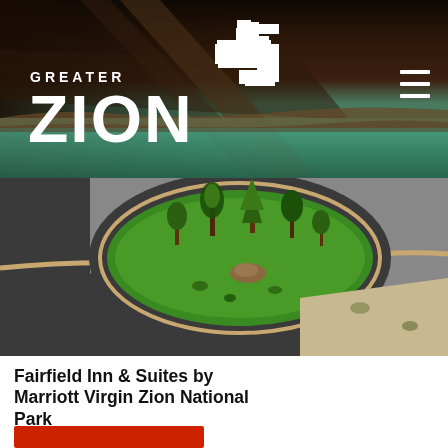[Figure (photo): Greater Zion tourism website header with canyon background, Greater Zion logo (white text with plus/cross icon), and hamburger menu icon on dark rocky canyon with teal water]
[Figure (photo): Aerial view of Fairfield Inn & Suites by Marriott Virgin Zion National Park hotel property showing green landscaping, circular driveway, and surrounding desert terrain]
Fairfield Inn & Suites by Marriott Virgin Zion National Park
Hurricane Valley | Hotel
TripAdvisor rating: 4 out of 5 circles, 2.5 out of 5 stars, ENTER DATES FOR PRICING